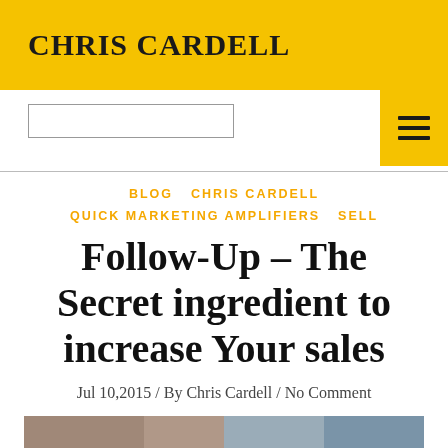CHRIS CARDELL
[Figure (screenshot): Navigation bar with search box outline on left and yellow hamburger menu button on right]
BLOG  CHRIS CARDELL  QUICK MARKETING AMPLIFIERS  SELL
Follow-Up – The Secret ingredient to increase Your sales
Jul 10,2015 / By Chris Cardell / No Comment
[Figure (photo): Partial photo strip at the bottom of the page]